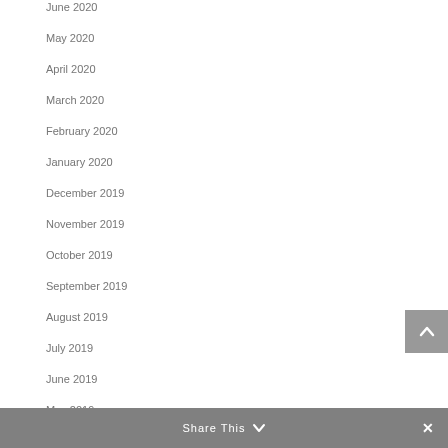June 2020
May 2020
April 2020
March 2020
February 2020
January 2020
December 2019
November 2019
October 2019
September 2019
August 2019
July 2019
June 2019
May 2019
February 2019
Share This ∨  ✕